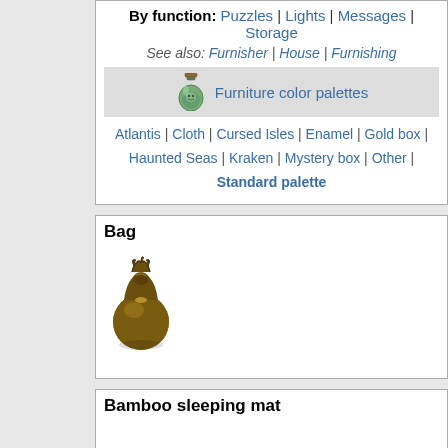By function: Puzzles | Lights | Messages | Storage
See also: Furnisher | House | Furnishing
Furniture color palettes
Atlantis | Cloth | Cursed Isles | Enamel | Gold box | Haunted Seas | Kraken | Mystery box | Other | Standard palette
Bag
[Figure (illustration): A brown drawstring bag item icon]
Bamboo sleeping mat
[Figure (illustration): Three bamboo sleeping mat item icons with green borders, showing different color variants]